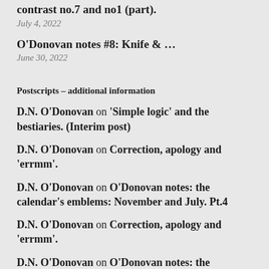contrast no.7 and no1 (part).
July 4, 2022
O'Donovan notes #8: Knife & …
June 30, 2022
Postscripts – additional information
D.N. O'Donovan on 'Simple logic' and the bestiaries. (Interim post)
D.N. O'Donovan on Correction, apology and 'errmm'.
D.N. O'Donovan on O'Donovan notes: the calendar's emblems: November and July. Pt.4
D.N. O'Donovan on Correction, apology and 'errmm'.
D.N. O'Donovan on O'Donovan notes: the calendar's emblems: November and July.